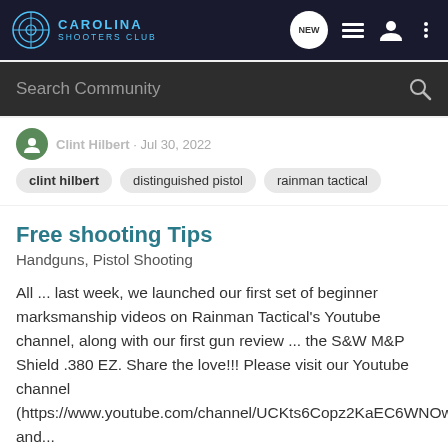CAROLINA SHOOTERS CLUB
Search Community
Clint Hilbert · Jul 30, 2022
clint hilbert
distinguished pistol
rainman tactical
Free shooting Tips
Handguns, Pistol Shooting
All ... last week, we launched our first set of beginner marksmanship videos on Rainman Tactical's Youtube channel, along with our first gun review ... the S&W M&P Shield .380 EZ. Share the love!!! Please visit our Youtube channel (https://www.youtube.com/channel/UCKts6Copz2KaEC6WNOwbX5Q) and...
0   78
Clint Hilbert · Jul 30, 2022